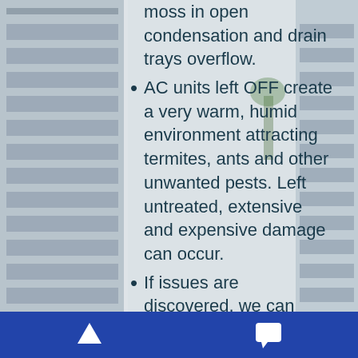[Figure (photo): Background photo of a high-rise building with glass windows and balconies, partially transparent overlay behind bullet point text]
moss in open condensation and drain trays overflow.
AC units left OFF create a very warm, humid environment attracting termites, ants and other unwanted pests. Left untreated, extensive and expensive damage can occur.
If issues are discovered, we can arrange for professional services to provide treatment or repair.
Navigation footer with up arrow and chat icon